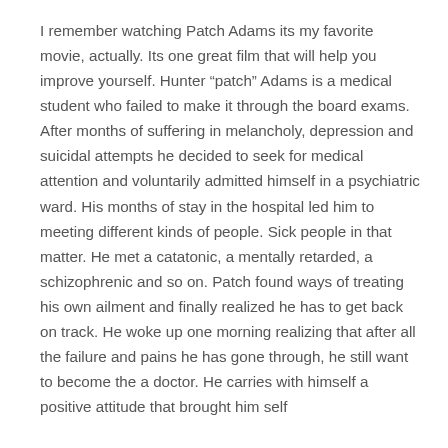I remember watching Patch Adams its my favorite movie, actually. Its one great film that will help you improve yourself. Hunter “patch” Adams is a medical student who failed to make it through the board exams. After months of suffering in melancholy, depression and suicidal attempts he decided to seek for medical attention and voluntarily admitted himself in a psychiatric ward. His months of stay in the hospital led him to meeting different kinds of people. Sick people in that matter. He met a catatonic, a mentally retarded, a schizophrenic and so on. Patch found ways of treating his own ailment and finally realized he has to get back on track. He woke up one morning realizing that after all the failure and pains he has gone through, he still want to become the a doctor. He carries with himself a positive attitude that brought him self